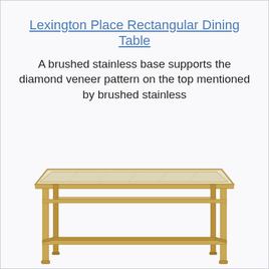Lexington Place Rectangular Dining Table
A brushed stainless base supports the diamond veneer pattern on the top mentioned by brushed stainless
[Figure (photo): A rectangular dining table with a gold/brass metal frame and a light-colored (mirrored or glass) top, shown at a slight angle. The table has a lower shelf/stretcher between the legs.]